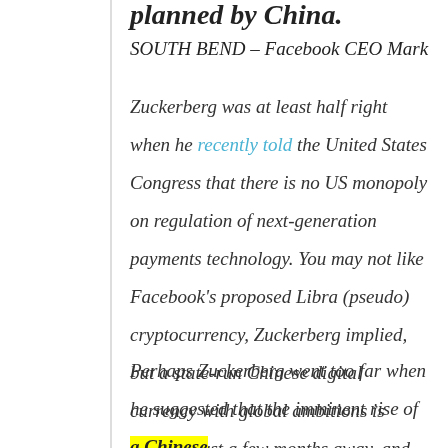planned by China.
SOUTH BEND – Facebook CEO Mark
Zuckerberg was at least half right when he recently told the United States Congress that there is no US monopoly on regulation of next-generation payments technology. You may not like Facebook's proposed Libra (pseudo) cryptocurrency, Zuckerberg implied, but a state-run Chinese digital currency with global ambitions is perhaps just a few months away, and you will probably like that even less.
Perhaps Zuckerberg went too far when he suggested that the imminent rise of a Chinese